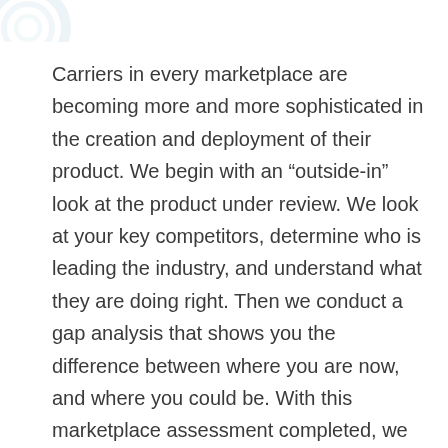[Figure (logo): Partial circular logo watermark in light blue/grey at top left corner]
Carriers in every marketplace are becoming more and more sophisticated in the creation and deployment of their product. We begin with an “outside-in” look at the product under review. We look at your key competitors, determine who is leading the industry, and understand what they are doing right. Then we conduct a gap analysis that shows you the difference between where you are now, and where you could be. With this marketplace assessment completed, we can then recommend prioritized opportunities to make the investments required to close the gap